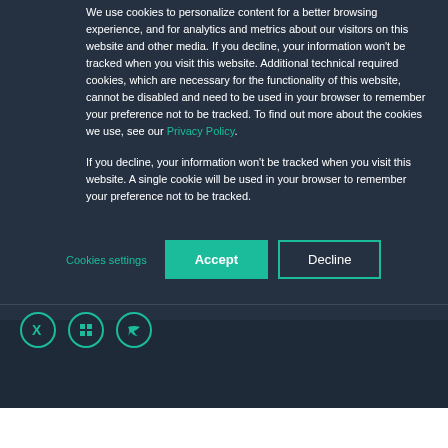We use cookies to personalize content for a better browsing experience, and for analytics and metrics about our visitors on this website and other media. If you decline, your information won't be tracked when you visit this website. Additional technical required cookies, which are necessary for the functionality of this website, cannot be disabled and need to be used in your browser to remember your preference not to be tracked. To find out more about the cookies we use, see our Privacy Policy.

If you decline, your information won't be tracked when you visit this website. A single cookie will be used in your browser to remember your preference not to be tracked.
Cookies settings | Accept | Decline
[Figure (other): Social media icons: X (formerly Twitter/Xing), LinkedIn, Twitter]